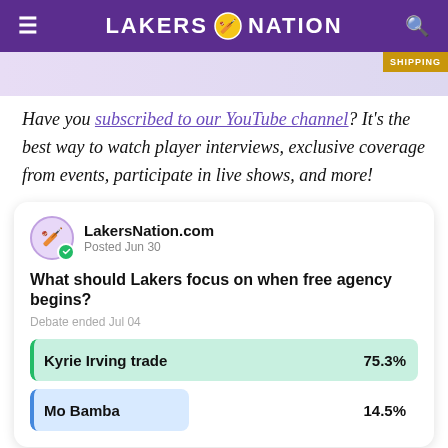LAKERS NATION
[Figure (screenshot): Ad strip with product images and SHIPPING badge]
Have you subscribed to our YouTube channel? It's the best way to watch player interviews, exclusive coverage from events, participate in live shows, and more!
[Figure (infographic): Poll card from LakersNation.com posted Jun 30. Question: What should Lakers focus on when free agency begins? Debate ended Jul 04. Results: Kyrie Irving trade 75.3%, Mo Bamba 14.5%]